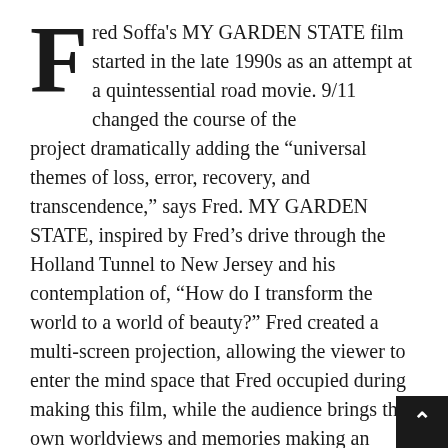Fred Soffa's MY GARDEN STATE film started in the late 1990s as an attempt at a quintessential road movie. 9/11 changed the course of the project dramatically adding the “universal themes of loss, error, recovery, and transcendence,” says Fred. MY GARDEN STATE, inspired by Fred’s drive through the Holland Tunnel to New Jersey and his contemplation of, “How do I transform the world to a world of beauty?” Fred created a multi-screen projection, allowing the viewer to enter the mind space that Fred occupied during making this film, while the audience brings their own worldviews and memories making an experience that is “at once singular and universal.”
Fred grew up in Fond du Lac, Wisconsin in the 1960s and finds it refreshing to see the younger generation taking a totally different perspective than what he experienced growing up, recognizing that the world has...